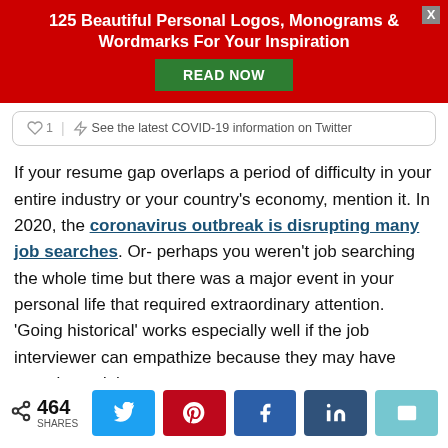[Figure (screenshot): Red promotional banner with bold white text '125 Beautiful Personal Logos, Monograms & Wordmarks For Your Inspiration' and a green 'READ NOW' button, plus a close X button]
See the latest COVID-19 information on Twitter
If your resume gap overlaps a period of difficulty in your entire industry or your country's economy, mention it. In 2020, the coronavirus outbreak is disrupting many job searches. Or- perhaps you weren't job searching the whole time but there was a major event in your personal life that required extraordinary attention. 'Going historical' works especially well if the job interviewer can empathize because they may have experienced the same event.
[Figure (infographic): Social share bar showing 464 SHARES with buttons for Twitter, Pinterest, Facebook, LinkedIn, and Email]